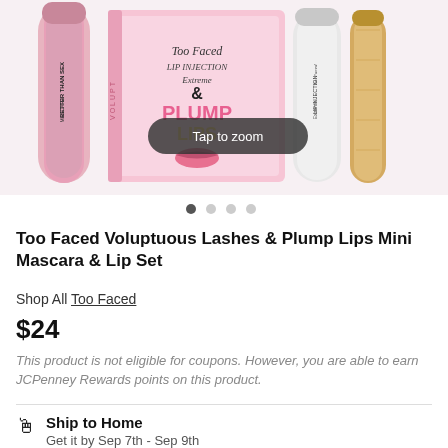[Figure (photo): Too Faced beauty products including a pink mascara tube labeled 'Better Than Sex', a pink box set labeled 'Voluptuous Lashes & Plump Lips' with a 'Tap to zoom' overlay button, a white lip injection serum tube, and a gold tube. Image carousel with 4 dot indicators below.]
Too Faced Voluptuous Lashes & Plump Lips Mini Mascara & Lip Set
Shop All Too Faced
$24
This product is not eligible for coupons. However, you are able to earn JCPenney Rewards points on this product.
Ship to Home
Get it by Sep 7th - Sep 9th